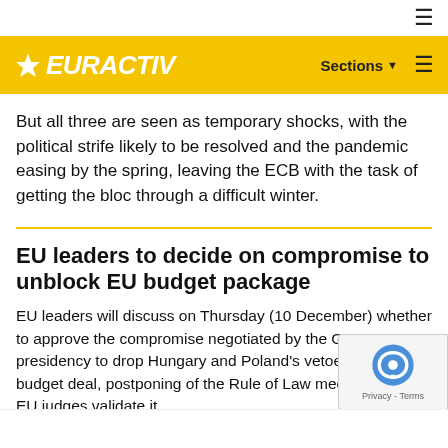☰
EURACTIV | Sections ☰
But all three are seen as temporary shocks, with the political strife likely to be resolved and the pandemic easing by the spring, leaving the ECB with the task of getting the bloc through a difficult winter.
EU leaders to decide on compromise to unblock EU budget package
EU leaders will discuss on Thursday (10 December) whether to approve the compromise negotiated by the German presidency to drop Hungary and Poland's vetoes to the EU budget deal, postponing of the Rule of Law mechanism until EU judges validate it.